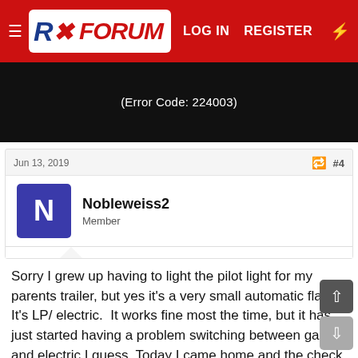RX Forum — LOG IN  REGISTER
[Figure (screenshot): Black video player area showing error text: (Error Code: 224003)]
Jun 13, 2019  #4
Nobleweiss2
Member
Sorry I grew up having to light the pilot light for my parents trailer, but yes it's a very small automatic flame. It's LP/ electric.  It works fine most the time, but it has just started having a problem switching between gas and electric I guess. Today I came home and the check light was on again. Just on gas. Not on electric. I reset it by turning the fridge off then on again. It lit but went out. I reset it again and